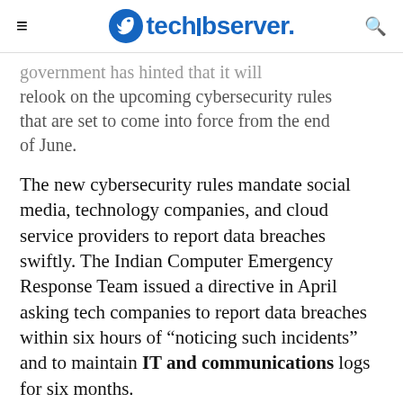techobserver.
government has hinted that it will relook on the upcoming cybersecurity rules that are set to come into force from the end of June.
The new cybersecurity rules mandate social media, technology companies, and cloud service providers to report data breaches swiftly. The Indian Computer Emergency Response Team issued a directive in April asking tech companies to report data breaches within six hours of “noticing such incidents” and to maintain IT and communications logs for six months.